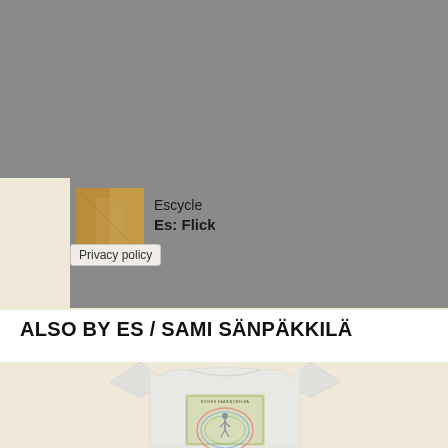[Figure (screenshot): Gray background area at top of page, appears to be a streaming/music app interface]
[Figure (photo): Small album art thumbnail showing a brownish/tan textured cover for Escycle - Es: Flick]
Escycle
Es: Flick
Privacy policy
ALSO BY ES / SAMI SÄNPÄKKILÄ
[Figure (photo): White t-shirt featuring album artwork showing a figure standing in a circle of rainbow arcs, with text 'ESTEEN KAARINODELMA' at the top, on a beige/cream background]